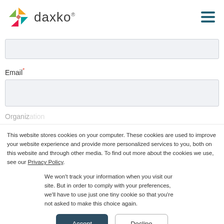[Figure (logo): Daxko logo with colorful X icon and 'daxko' wordmark]
Email*
This website stores cookies on your computer. These cookies are used to improve your website experience and provide more personalized services to you, both on this website and through other media. To find out more about the cookies we use, see our Privacy Policy.
We won't track your information when you visit our site. But in order to comply with your preferences, we'll have to use just one tiny cookie so that you're not asked to make this choice again.
Accept
Decline